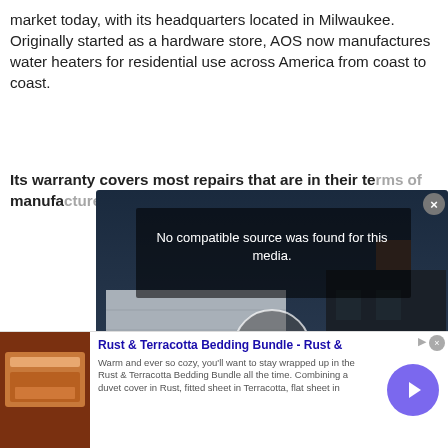market today, with its headquarters located in Milwaukee. Originally started as a hardware store, AOS now manufactures water heaters for residential use across America from coast to coast.
Its warranty covers most repairs that are in their te... manufa... one yea... decreas...
The com... only by...
[Figure (screenshot): Video player overlay showing a house at night with error message 'No compatible source was found for this media.' and a large X button. Below it shows text 'A home inspection is a small investment to help make an informed buying decision.']
[Figure (infographic): Advertisement banner for 'Rust & Terracotta Bedding Bundle - Rust &' with image of bedding on left, ad text in center, and circular arrow button on right. Text reads: 'Warm and ever so cozy, you'll want to stay wrapped up in the Rust & Terracotta Bedding Bundle all the time. Combining a duvet cover in Rust, fitted sheet in Terracotta, flat sheet in']